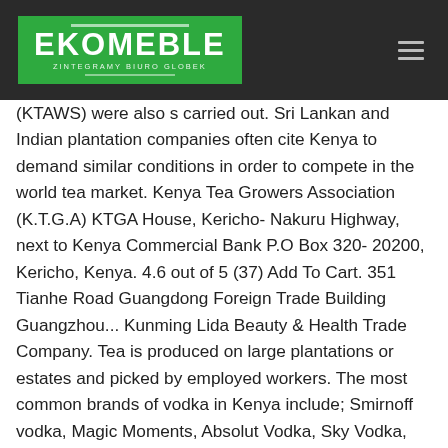[Figure (logo): Ekomeble logo — white text on green background with tagline 'zintegramy biuro globek']
(KTAWS) were also s carried out. Sri Lankan and Indian plantation companies often cite Kenya to demand similar conditions in order to compete in the world tea market. Kenya Tea Growers Association (K.T.G.A) KTGA House, Kericho- Nakuru Highway, next to Kenya Commercial Bank P.O Box 320- 20200, Kericho, Kenya. 4.6 out of 5 (37) Add To Cart. 351 Tianhe Road Guangdong Foreign Trade Building Guangzhou... Kunming Lida Beauty & Health Trade Company. Tea is produced on large plantations or estates and picked by employed workers. The most common brands of vodka in Kenya include; Smirnoff vodka, Magic Moments, Absolut Vodka, Sky Vodka, Ciroc Vodka, Flirt vodka, Belvedere, KGB vodka, Grey Goose, Stolichnaya,